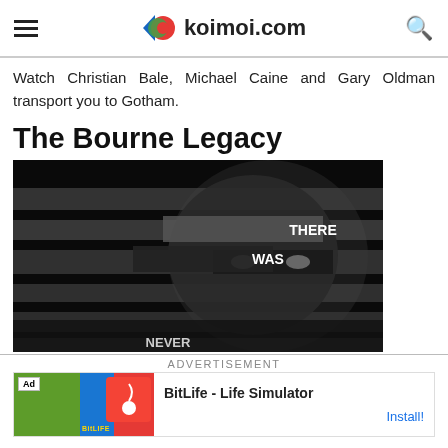koimoi.com
Watch Christian Bale, Michael Caine and Gary Oldman transport you to Gotham.
The Bourne Legacy
[Figure (photo): Movie poster for The Bourne Legacy showing a close-up of a man's face split by horizontal bars of light and shadow, with the text THERE WAS overlaid on the image in white letters.]
ADVERTISEMENT
[Figure (screenshot): Advertisement banner for BitLife - Life Simulator app showing app icon, green ad imagery, and Install! button.]